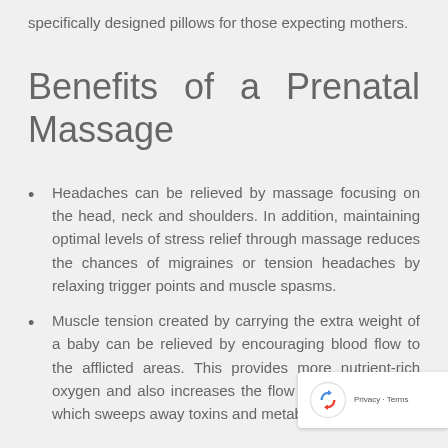specifically designed pillows for those expecting mothers.
Benefits of a Prenatal Massage
Headaches can be relieved by massage focusing on the head, neck and shoulders. In addition, maintaining optimal levels of stress relief through massage reduces the chances of migraines or tension headaches by relaxing trigger points and muscle spasms.
Muscle tension created by carrying the extra weight of a baby can be relieved by encouraging blood flow to the afflicted areas. This provides more nutrient-rich oxygen and also increases the flow of lymphatic fluid, which sweeps away toxins and metabolic waste.